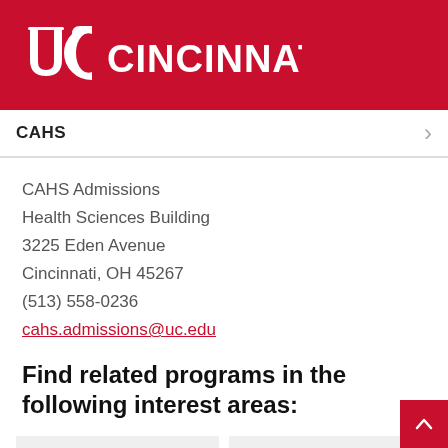[Figure (logo): University of Cincinnati logo — UC interlocked letters with 'CINCINNATI' text in white on red background]
CAHS
CAHS Admissions
Health Sciences Building
3225 Eden Avenue
Cincinnati, OH 45267
(513) 558-0236
cahs.admissions@uc.edu
Find related programs in the following interest areas:
Computers & Technology
Medicine & Health
Natural Science & Math